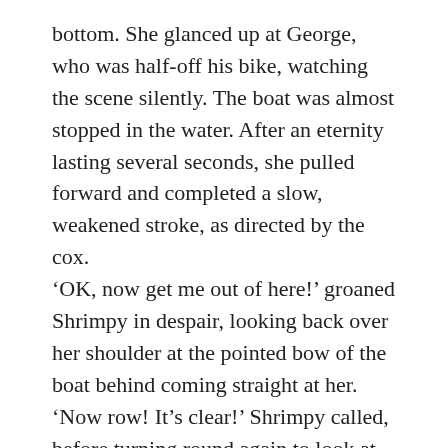bottom. She glanced up at George, who was half-off his bike, watching the scene silently. The boat was almost stopped in the water. After an eternity lasting several seconds, she pulled forward and completed a slow, weakened stroke, as directed by the cox.
‘OK, now get me out of here!’ groaned Shrimpy in despair, looking back over her shoulder at the pointed bow of the boat behind coming straight at her.
‘Now row! It’s clear!’ Shrimpy called, before turning round again to look at what she could do to escape being skewered. Rhan and the rest of the oarsmen were facing backwards so could clearly see an eight with light-blue oars